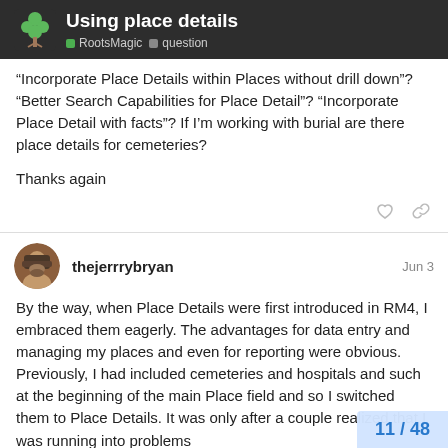Using place details — RootsMagic · question
“Incorporate Place Details within Places without drill down”? “Better Search Capabilities for Place Detail”? “Incorporate Place Detail with facts”? If I’m working with burial are there place details for cemeteries?
Thanks again
thejerrrybryan  Jun 3
By the way, when Place Details were first introduced in RM4, I embraced them eagerly. The advantages for data entry and managing my places and even for reporting were obvious. Previously, I had included cemeteries and hospitals and such at the beginning of the main Place field and so I switched them to Place Details. It was only after a couple realized that I was running into problems
11 / 48